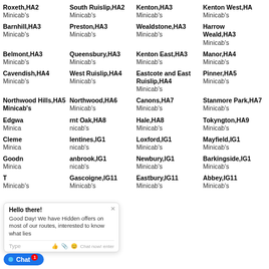Roxeth,HA2 Minicab's
South Ruislip,HA2 Minicab's
Kenton,HA3 Minicab's
Kenton West,HA3 Minicab's
Barnhill,HA3 Minicab's
Preston,HA3 Minicab's
Wealdstone,HA3 Minicab's
Harrow Weald,HA3 Minicab's
Belmont,HA3 Minicab's
Queensbury,HA3 Minicab's
Kenton East,HA3 Minicab's
Manor,HA4 Minicab's
Cavendish,HA4 Minicab's
West Ruislip,HA4 Minicab's
Eastcote and East Ruislip,HA4 Minicab's
Pinner,HA5 Minicab's
Northwood Hills,HA5 Minicab's
Northwood,HA6 Minicab's
Canons,HA7 Minicab's
Stanmore Park,HA7 Minicab's
Edgware,HA8 Minicab's
Burnt Oak,HA8 Minicab's
Hale,HA8 Minicab's
Tokyngton,HA9 Minicab's
Clementswood,IG1 Minicab's
Valentines,IG1 Minicab's
Loxford,IG1 Minicab's
Mayfield,IG1 Minicab's
Goodmayes,IG1 Minicab's
Cranbrook,IG1 Minicab's
Newbury,IG1 Minicab's
Barkingside,IG1 Minicab's
Thames,IG11 Minicab's
Gascoigne,IG11 Minicab's
Eastbury,IG11 Minicab's
Abbey,IG11 Minicab's